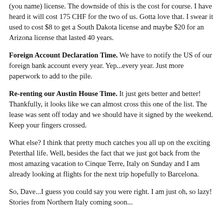(you name) license. The downside of this is the cost for course. I have heard it will cost 175 CHF for the two of us. Gotta love that. I swear it used to cost $8 to get a South Dakota license and maybe $20 for an Arizona license that lasted 40 years.
Foreign Account Declaration Time. We have to notify the US of our foreign bank account every year. Yep...every year. Just more paperwork to add to the pile.
Re-renting our Austin House Time. It just gets better and better! Thankfully, it looks like we can almost cross this one of the list. The lease was sent off today and we should have it signed by the weekend. Keep your fingers crossed.
What else? I think that pretty much catches you all up on the exciting Peterthal life. Well, besides the fact that we just got back from the most amazing vacation to Cinque Terre, Italy on Sunday and I am already looking at flights for the next trip hopefully to Barcelona.
So, Dave...I guess you could say you were right. I am just oh, so lazy! Stories from Northern Italy coming soon...